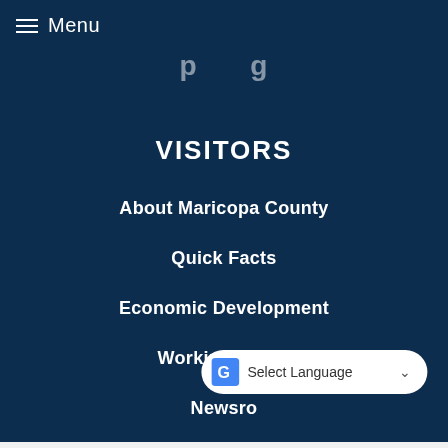Menu
VISITORS
About Maricopa County
Quick Facts
Economic Development
Working for Us
Newsroom